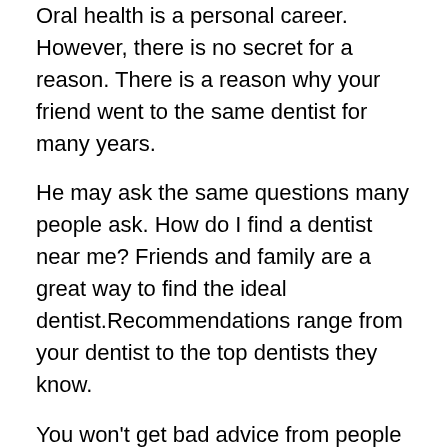Oral health is a personal career. However, there is no secret for a reason. There is a reason why your friend went to the same dentist for many years.
He may ask the same questions many people ask. How do I find a dentist near me? Friends and family are a great way to find the ideal dentist.Recommendations range from your dentist to the top dentists they know.
You won't get bad advice from people you trust. With the advice and experience of your friends and family, you can easily choose what you want.
Shopping
Just like buying a new house, you are not satisfied with the first house you encounter. When looking for the best dentist for you, you have no choice.
Compare and explore all the dental clinics around you as